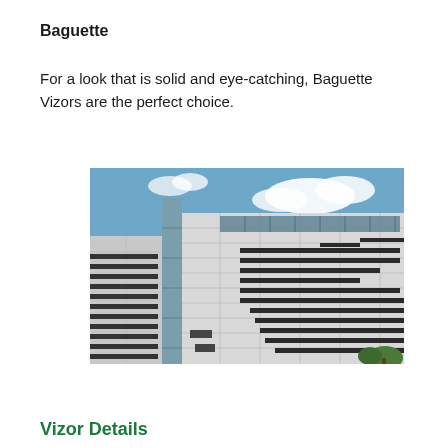Baguette
For a look that is solid and eye-catching, Baguette Vizors are the perfect choice.
[Figure (photo): Exterior photo of a modern commercial building featuring white panel cladding with distinctive horizontal dark baguette vizors arranged in a cascading pattern across the facade, with glass curtain wall sections and a blue sky with clouds in the background.]
Vizor Details